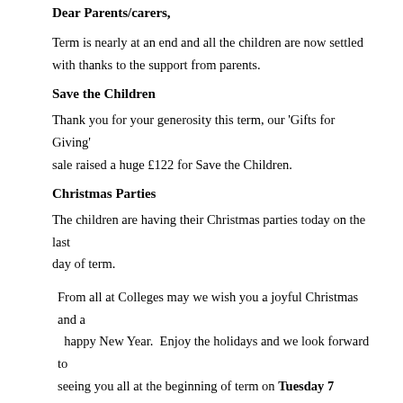Dear Parents/carers,
Term is nearly at an end and all the children are now settled with thanks to the support from parents.
Save the Children
Thank you for your generosity this term, our 'Gifts for Giving' sale raised a huge £122 for Save the Children.
Christmas Parties
The children are having their Christmas parties today on the last day of term.
From all at Colleges may we wish you a joyful Christmas and a happy New Year.  Enjoy the holidays and we look forward to seeing you all at the beginning of term on Tuesday 7 January.
Save the Date
(Please note: dates and times may be subject to change. Newly added or altered dates will appear in red)